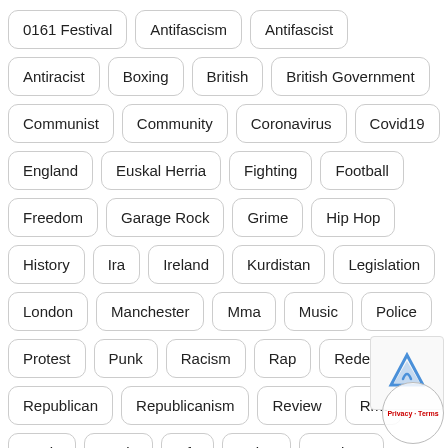0161 Festival
Antifascism
Antifascist
Antiracist
Boxing
British
British Government
Communist
Community
Coronavirus
Covid19
England
Euskal Herria
Fighting
Football
Freedom
Garage Rock
Grime
Hip Hop
History
Ira
Ireland
Kurdistan
Legislation
London
Manchester
Mma
Music
Police
Protest
Punk
Racism
Rap
Redeye
Republican
Republicanism
Review
Rmt
Spain
Trade
Ufc
Union
Workers
Working Class
Ypg